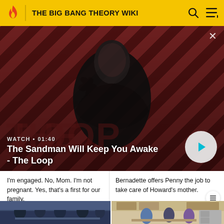THE BIG BANG THEORY WIKI
[Figure (screenshot): Video banner showing The Sandman Will Keep You Awake - The Loop with diagonal stripe background and dark-clad figure with raven]
WATCH • 01:40
The Sandman Will Keep You Awake - The Loop
I'm engaged. No, Mom. I'm not pregnant. Yes, that's a first for our family.
Bernadette offers Penny the job to take care of Howard's mother.
[Figure (screenshot): Scene showing characters sitting at a table in what appears to be a cafeteria or common room]
[Figure (screenshot): Scene showing characters in a kitchen setting]